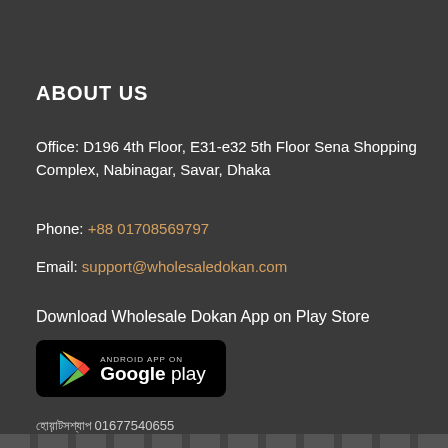ABOUT US
Office: D196 4th Floor, E31-e32 5th Floor Sena Shopping Complex, Nabinagar, Savar, Dhaka
Phone: +88 01708569797
Email: support@wholesaledokan.com
Download Wholesale Dokan App on Play Store
[Figure (logo): Google Play Store badge - Android App on Google play]
হোয়াটসঅ্যাপ 01677540655